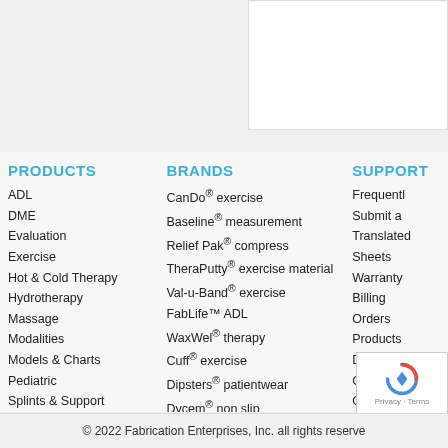Read More
PRODUCTS
ADL
DME
Evaluation
Exercise
Hot & Cold Therapy
Hydrotherapy
Massage
Modalities
Models & Charts
Pediatric
Splints & Support
Treatment Furniture
BRANDS
CanDo® exercise
Baseline® measurement
Relief Pak® compress
TheraPutty® exercise material
Val-u-Band® exercise
FabLife™ ADL
WaxWel® therapy
Cuff® exercise
Dipsters® patientwear
Dycem® non slip
Point Relief® pain relief products
Skillbuilders® positioning
SUPPORT
Frequently
Submit a
Translated Sheets
Warranty
Billing
Orders
Products
Directions
Customer
Online Au
Policies
© 2022 Fabrication Enterprises, Inc. all rights reserve